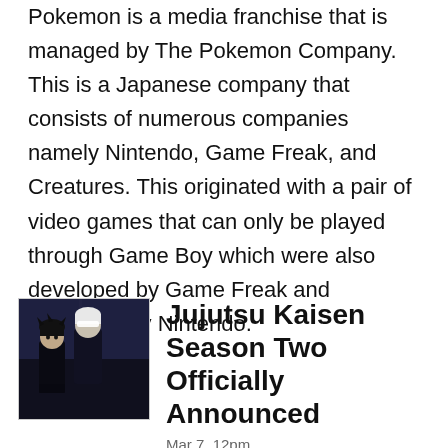Pokemon is a media franchise that is managed by The Pokemon Company. This is a Japanese company that consists of numerous companies namely Nintendo, Game Freak, and Creatures. This originated with a pair of video games that can only be played through Game Boy which were also developed by Game Freak and published by Nintendo.
[Figure (illustration): Thumbnail image of two anime characters from Jujutsu Kaisen in dark clothing against a dark background]
Jujutsu Kaisen Season Two Officially Announced
Mar 7, 12pm